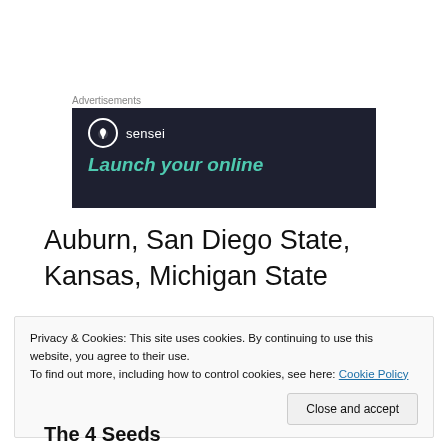Advertisements
[Figure (logo): Dark navy advertisement banner for 'sensei' brand with circular tree logo and teal italic text 'Launch your online']
Auburn, San Diego State, Kansas, Michigan State
Privacy & Cookies: This site uses cookies. By continuing to use this website, you agree to their use.
To find out more, including how to control cookies, see here: Cookie Policy
Close and accept
The 4 Seeds